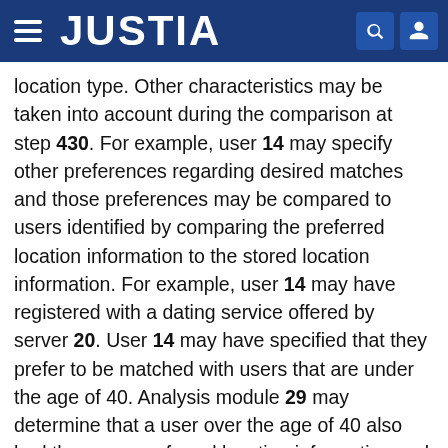JUSTIA
location type. Other characteristics may be taken into account during the comparison at step 430. For example, user 14 may specify other preferences regarding desired matches and those preferences may be compared to users identified by comparing the preferred location information to the stored location information. For example, user 14 may have registered with a dating service offered by server 20. User 14 may have specified that they prefer to be matched with users that are under the age of 40. Analysis module 29 may determine that a user over the age of 40 also had the same preferred location information and may disregard the user even though the preferred location information is the same as the stored location information. As another example, the preferred location information may be given more weight than other preferences submitted by user 14. For example, user 14 may specif